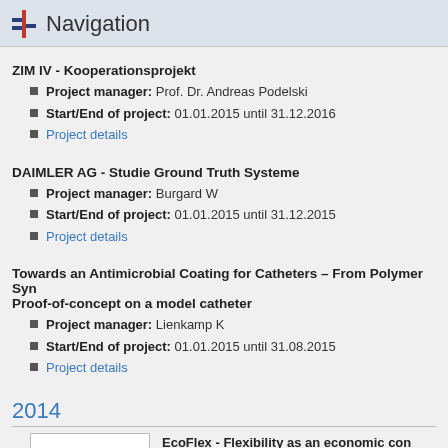Navigation
ZIM IV - Kooperationsprojekt
Project manager: Prof. Dr. Andreas Podelski
Start/End of project: 01.01.2015 until 31.12.2016
Project details
DAIMLER AG - Studie Ground Truth Systeme
Project manager: Burgard W
Start/End of project: 01.01.2015 until 31.12.2015
Project details
Towards an Antimicrobial Coating for Catheters – From Polymer Syn… Proof-of-concept on a model catheter
Project manager: Lienkamp K
Start/End of project: 01.01.2015 until 31.08.2015
Project details
2014
[Figure (other): White rectangle image placeholder]
EcoFlex - Flexibility as an economic con… the efficient integration of renewable…